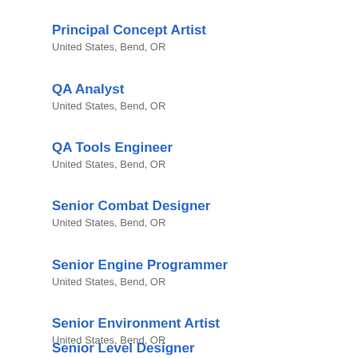Principal Concept Artist
United States, Bend, OR
QA Analyst
United States, Bend, OR
QA Tools Engineer
United States, Bend, OR
Senior Combat Designer
United States, Bend, OR
Senior Engine Programmer
United States, Bend, OR
Senior Environment Artist
United States, Bend, OR
Senior Level Designer